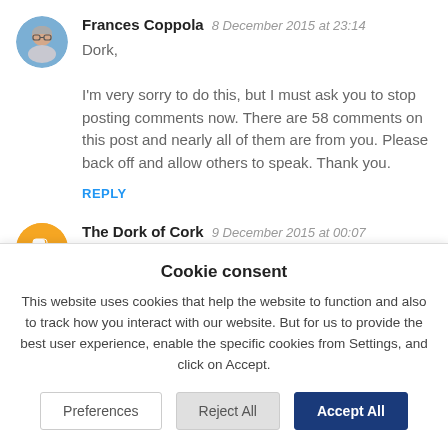Frances Coppola  8 December 2015 at 23:14
Dork,

I'm very sorry to do this, but I must ask you to stop posting comments now. There are 58 comments on this post and nearly all of them are from you. Please back off and allow others to speak. Thank you.
REPLY
The Dork of Cork  9 December 2015 at 00:07
Cookie consent
This website uses cookies that help the website to function and also to track how you interact with our website. But for us to provide the best user experience, enable the specific cookies from Settings, and click on Accept.
Preferences | Reject All | Accept All